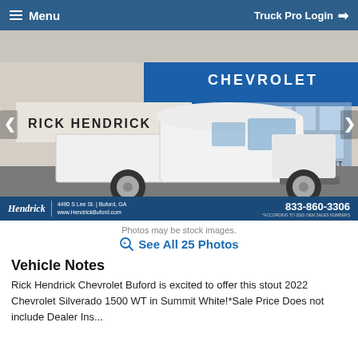Menu   Truck Pro Login
[Figure (photo): White Chevrolet Silverado 1500 WT pickup truck parked in front of Rick Hendrick Chevrolet dealership. Dealer banner shows: 4490 S Lee St. | Buford, GA | www.HendrickBuford.com | 833-860-3306]
Photos may be stock images.
See All 25 Photos
Vehicle Notes
Rick Hendrick Chevrolet Buford is excited to offer this stout 2022 Chevrolet Silverado 1500 WT in Summit White!*Sale Price Does not include Dealer Ins...